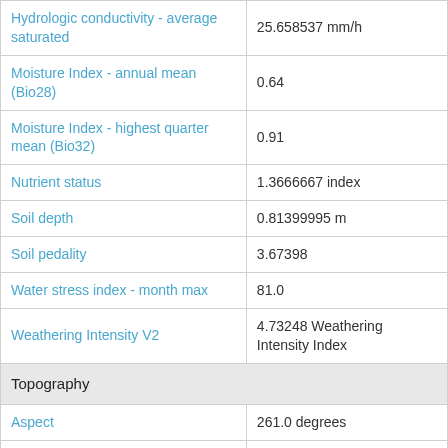| Property | Value |
| --- | --- |
| Hydrologic conductivity - average saturated | 25.658537 mm/h |
| Moisture Index - annual mean (Bio28) | 0.64 |
| Moisture Index - highest quarter mean (Bio32) | 0.91 |
| Nutrient status | 1.3666667 index |
| Soil depth | 0.81399995 m |
| Soil pedality | 3.67398 |
| Water stress index - month max | 81.0 |
| Weathering Intensity V2 | 4.73248 Weathering Intensity Index |
| Topography |  |
| Aspect | 261.0 degrees |
| Averaged Topographic Relief | 167.91667 metres |
| Bathymetry and Elvation 9 sec | 5.0 m |